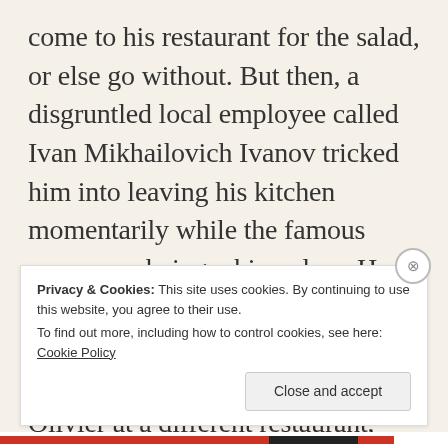come to his restaurant for the salad, or else go without. But then, a disgruntled local employee called Ivan Mikhailovich Ivanov tricked him into leaving his kitchen momentarily while the famous mayo was being whipped up. He managed to note down the ingredients, left the restaurant, and began selling his facsimile of Salad Olivier at a different restaurant, under the name of Capital Salad (Stolichny Salad).
Privacy & Cookies: This site uses cookies. By continuing to use this website, you agree to their use. To find out more, including how to control cookies, see here: Cookie Policy